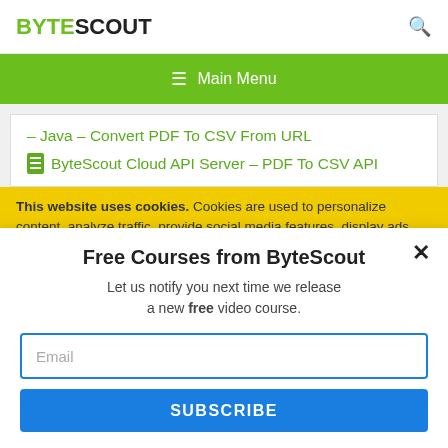BYTESCOUT
≡  Main Menu
– Java – Convert PDF To CSV From URL
ByteScout Cloud API Server – PDF To CSV API
This website uses cookies. Cookies are used to personalize content, analyze traffic, provide social media features, display ads. We also share
Free Courses from ByteScout
Let us notify you next time we release a new free video course.
Email
SUBSCRIBE